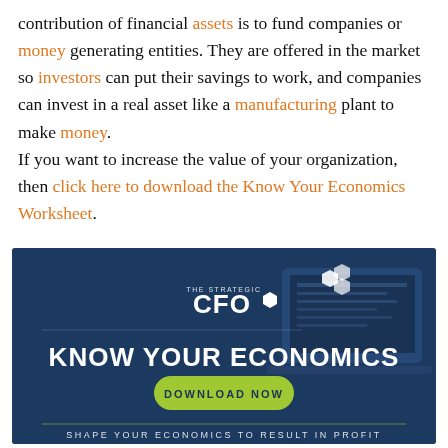contribution of financial assets is to fund companies or money generating entities. They are offered in the market so investors can put their savings to work, and companies can invest in a real asset like a manufacturing plant to make money. If you want to increase the value of your organization, then click here to download the Know Your Economics Worksheet.
[Figure (infographic): The Strategic CFO advertisement banner: dark navy blue background with laptop image, white hexagonal logo, bold white text 'KNOW YOUR ECONOMICS', green pill-shaped button 'DOWNLOAD NOW', subtitle 'SHAPE YOUR ECONOMICS TO RESULT IN PROFIT']